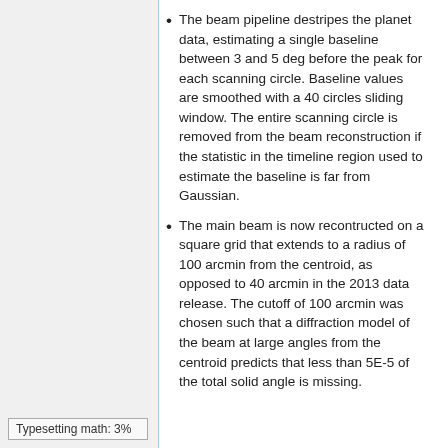The beam pipeline destripes the planet data, estimating a single baseline between 3 and 5 deg before the peak for each scanning circle. Baseline values are smoothed with a 40 circles sliding window. The entire scanning circle is removed from the beam reconstruction if the statistic in the timeline region used to estimate the baseline is far from Gaussian.
The main beam is now recontructed on a square grid that extends to a radius of 100 arcmin from the centroid, as opposed to 40 arcmin in the 2013 data release. The cutoff of 100 arcmin was chosen such that a diffraction model of the beam at large angles from the centroid predicts that less than 5E-5 of the total solid angle is missing.
Typesetting math: 3%